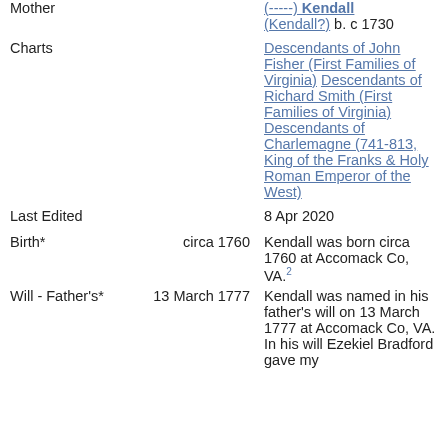Mother | (-----) Kendall (Kendall?) b. c 1730
Charts | Descendants of John Fisher (First Families of Virginia) Descendants of Richard Smith (First Families of Virginia) Descendants of Charlemagne (741-813, King of the Franks & Holy Roman Emperor of the West)
Last Edited | 8 Apr 2020
Birth* | circa 1760 | Kendall was born circa 1760 at Accomack Co, VA.2
Will - Father's* | 13 March 1777 | Kendall was named in his father's will on 13 March 1777 at Accomack Co, VA. In his will Ezekiel Bradford gave my